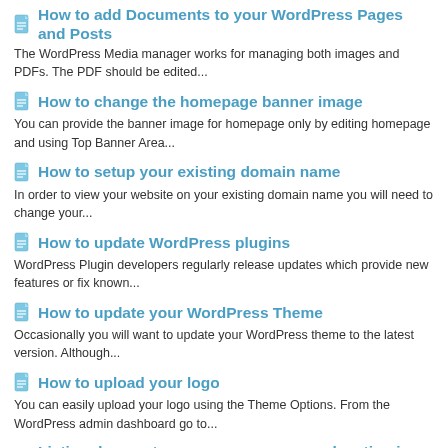How to add Documents to your WordPress Pages and Posts
The WordPress Media manager works for managing both images and PDFs. The PDF should be edited...
How to change the homepage banner image
You can provide the banner image for homepage only by editing homepage and using Top Banner Area...
How to setup your existing domain name
In order to view your website on your existing domain name you will need to change your...
How to update WordPress plugins
WordPress Plugin developers regularly release updates which provide new features or fix known...
How to update your WordPress Theme
Occasionally you will want to update your WordPress theme to the latest version. Although...
How to upload your logo
You can easily upload your logo using the Theme Options. From the WordPress admin dashboard go to...
Listing does not appear on map or map location is wrong
Most listings from the IDX do not include latitude and longitude values. The latitude and...
Listing photos are not updating on the website